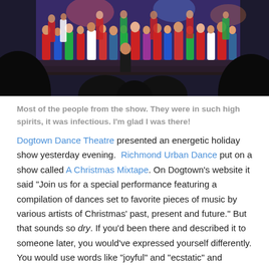[Figure (photo): A large group of people, mostly children, on a stage under colorful stage lighting. Silhouettes of audience members are visible in the foreground.]
Most of the people from the show. They were in such high spirits, it was infectious. I'm glad I was there!
Dogtown Dance Theatre presented an energetic holiday show yesterday evening. Richmond Urban Dance put on a show called A Christmas Mixtape. On Dogtown's website it said “Join us for a special performance featuring a compilation of dances set to favorite pieces of music by various artists of Christmas’ past, present and future.” But that sounds so dry. If you’d been there and described it to someone later, you would’ve expressed yourself differently. You would use words like “joyful” and “ecstatic” and “engaging” and “vigorous” and “cheerful” and “bright”